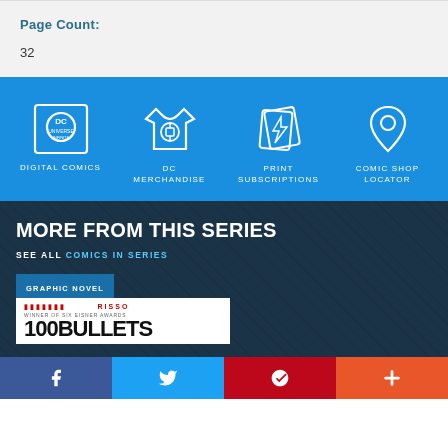Page Count:
32
[Figure (infographic): Four white icons on blue background: DC Universe (Digital Comics), t-shirt with lantern logo (DC Merchandise), lightning bolt cards (Print Subscriptions), map pin (Comic Shop Locator), each with label below]
MORE FROM THIS SERIES
SEE ALL COMICS IN SERIES
[Figure (photo): Graphic Novel badge over book cover showing 100 BULLETS with RISSO author name and Eisner award mention]
Facebook  Twitter  Pinterest  More